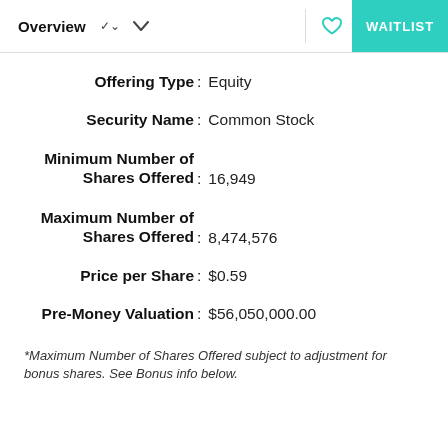Overview  ∨  WAITLIST
Offering Type : Equity
Security Name : Common Stock
Minimum Number of Shares Offered : 16,949
Maximum Number of Shares Offered : 8,474,576
Price per Share : $0.59
Pre-Money Valuation : $56,050,000.00
*Maximum Number of Shares Offered subject to adjustment for bonus shares. See Bonus info below.